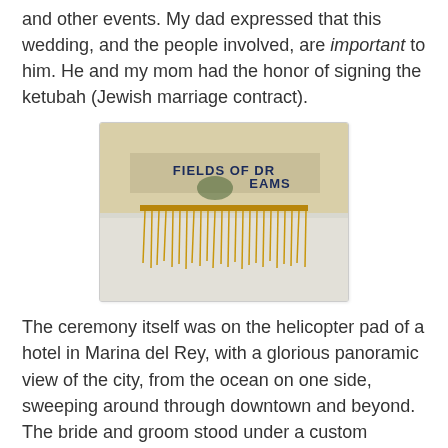and other events. My dad expressed that this wedding, and the people involved, are important to him. He and my mom had the honor of signing the ketubah (Jewish marriage contract).
[Figure (photo): Photo of a chuppah canopy fabric with gold fringe hanging down. The fabric reads 'FIELDS OF DREAMS' with a logo visible. The background is a pale sky.]
The ceremony itself was on the helicopter pad of a hotel in Marina del Rey, with a glorious panoramic view of the city, from the ocean on one side, sweeping around through downtown and beyond. The bride and groom stood under a custom chuppah (canopy), made from pieces important to them, including a shirt my brother got on a cross-country trip they took together to the Baseball Hall of Fame. As the chuppah flapped in the wind, I caught glimpses of the words "Field of Dreams."